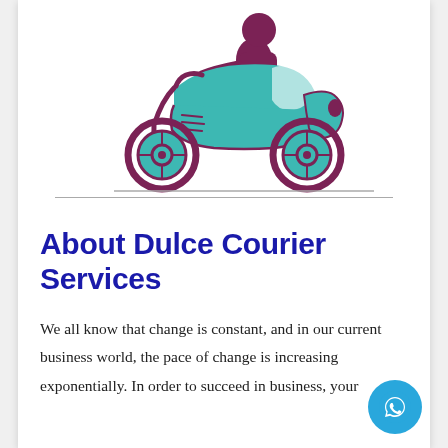[Figure (illustration): Illustration of a person riding a teal/turquoise scooter/moped, with the rider wearing dark clothing. The scooter is rendered in a flat cartoon style with teal body and dark magenta/maroon outlines and wheel details.]
About Dulce Courier Services
We all know that change is constant, and in our current business world, the pace of change is increasing exponentially. In order to succeed in business, your